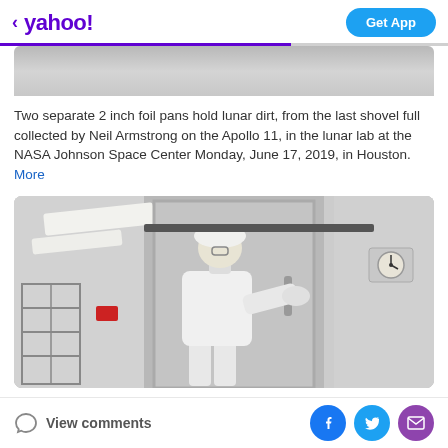yahoo! Get App
[Figure (photo): Partial view of a photo showing a grey/white surface — top portion of a lab image]
Two separate 2 inch foil pans hold lunar dirt, from the last shovel full collected by Neil Armstrong on the Apollo 11, in the lunar lab at the NASA Johnson Space Center Monday, June 17, 2019, in Houston.
More
[Figure (photo): A person in white clean-room suit and cap opens a large metal door in a clean laboratory environment. Shelving unit visible on left, a clock on the wall to the right, fluorescent ceiling lights above. NASA Johnson Space Center lunar lab.]
View comments